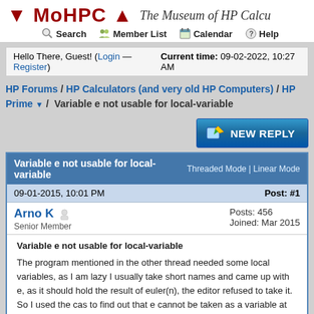MoHPC ▼▲ — The Museum of HP Calcu…
Search | Member List | Calendar | Help
Hello There, Guest! (Login — Register)   Current time: 09-02-2022, 10:27 AM
HP Forums / HP Calculators (and very old HP Computers) / HP Prime ▼ / Variable e not usable for local-variable
NEW REPLY
Variable e not usable for local-variable   Threaded Mode | Linear Mode
09-01-2015, 10:01 PM   Post: #1
Arno K
Senior Member
Posts: 456
Joined: Mar 2015
Variable e not usable for local-variable
The program mentioned in the other thread needed some local variables, as I am lazy I usually take short names and came up with e, as it should hold the result of euler(n), the editor refused to take it. So I used the cas to find out that e cannot be taken as a variable at all although I think to have read that all small letters are possible. That is not a very nice limitation and if the…